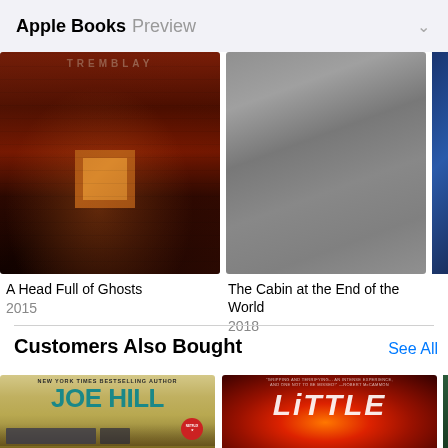Apple Books Preview
[Figure (photo): Book cover: A Head Full of Ghosts - dark red/brown brick building with lit window]
A Head Full of Ghosts
2015
[Figure (photo): Book cover: The Cabin at the End of the World - grey cover]
The Cabin at the End of the World
2018
[Figure (photo): Partially visible book cover - blue]
Customers Also Bought
See All
[Figure (photo): Book cover: Joe Hill - New York Times Bestselling Author, with Netflix badge]
[Figure (photo): Book cover: Little Fires - dark red/orange fire imagery with white stylized text LITTLE]